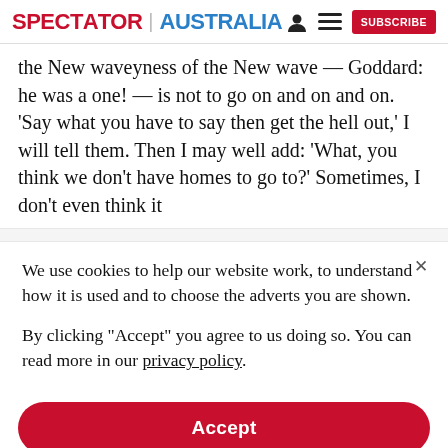SPECTATOR | AUSTRALIA  [person icon] [menu icon]  SUBSCRIBE
the New waveyness of the New wave — Goddard: he was a one! — is not to go on and on and on. ‘Say what you have to say then get the hell out,’ I will tell them. Then I may well add: ‘What, you think we don’t have homes to go to?’ Sometimes, I don’t even think it
We use cookies to help our website work, to understand how it is used and to choose the adverts you are shown.
By clicking "Accept" you agree to us doing so. You can read more in our privacy policy.
Accept